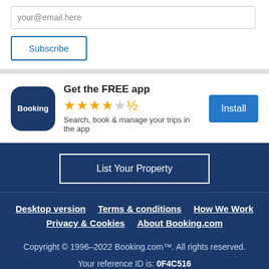your@email.here
Subscribe
[Figure (logo): Booking.com app icon — dark navy blue rounded square with white text 'Booking']
Get the FREE app
★★★★½
Search, book & manage your trips in the app
Install
List Your Property
Desktop version   Terms & conditions   How We Work
Privacy & Cookies   About Booking.com
Copyright © 1996–2022 Booking.com™. All rights reserved.
Your reference ID is: 0F4C516